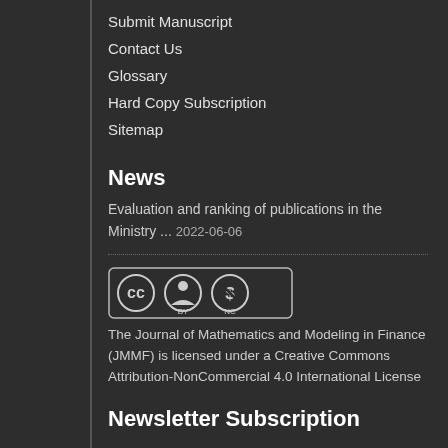Submit Manuscript
Contact Us
Glossary
Hard Copy Subscription
Sitemap
News
Evaluation and ranking of publications in the Ministry ... 2022-06-06
[Figure (logo): Creative Commons BY NC license badge with CC, person, and dollar sign icons]
The Journal of Mathematics and Modeling in Finance (JMMF) is licensed under a Creative Commons Attribution-NonCommercial 4.0 International License
Newsletter Subscription